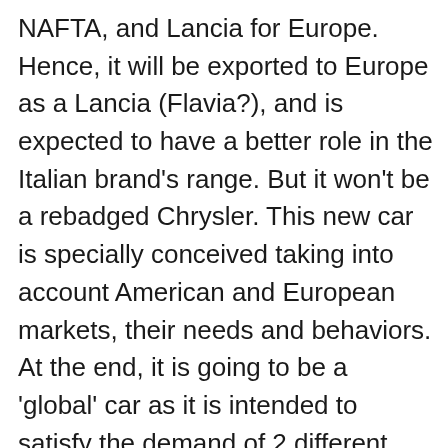NAFTA, and Lancia for Europe. Hence, it will be exported to Europe as a Lancia (Flavia?), and is expected to have a better role in the Italian brand's range. But it won't be a rebadged Chrysler. This new car is specially conceived taking into account American and European markets, their needs and behaviors. At the end, it is going to be a 'global' car as it is intended to satisfy the demand of 2 different markets. It is more or less what Ford decided to do with the latest generation Fusion (in USA) and Mondeo (Europe). The difference in this case is the production location: USA. According to Automotive News, the new sedan will incorporate the latest technologic features with